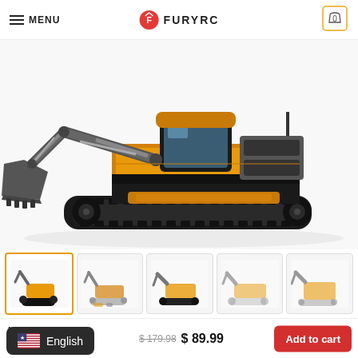MENU | FURYRC | Cart 0
[Figure (photo): Large product photo of a HUINA brand RC excavator toy, yellow and black with grey bucket arm, on rubber tracks, white background]
[Figure (photo): Thumbnail row 1: 5 small images of the RC excavator from different angles]
[Figure (photo): Thumbnail row 2: 5 small images of the RC excavator showing accessories and detail shots]
HUI... Add to cart
$ 179.98  $ 89.99
English